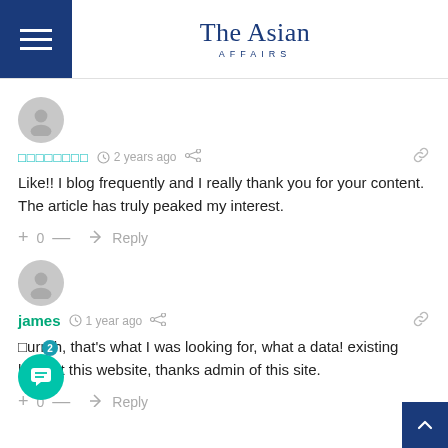The Asian Affairs
[Figure (illustration): Gray circular avatar icon with person silhouette, first comment]
□□□□□□□□  2 years ago  [share]  [link]
Like!! I blog frequently and I really thank you for your content. The article has truly peaked my interest.
+ 0 —  → Reply
[Figure (illustration): Gray circular avatar icon with person silhouette, second comment]
james  1 year ago  [share]  [link]
□urrah, that's what I was looking for, what a data! existing here at this website, thanks admin of this site.
+ 0 —  → Reply